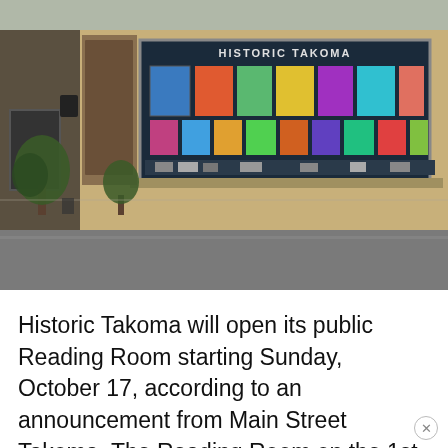[Figure (photo): Street-level photo of a storefront with a large window display reading 'HISTORIC TAKOMA' featuring colorful artwork and paintings. The building has brick facade, a sidewalk with trees, and a street in the foreground.]
Historic Takoma will open its public Reading Room starting Sunday, October 17, according to an announcement from Main Street Takoma. The Reading Room on the 1st and 3rd Sundays of the month from 1:00 pm – 4:00 pm. Historic Takoma is located at 7328 Carroll Ave. in